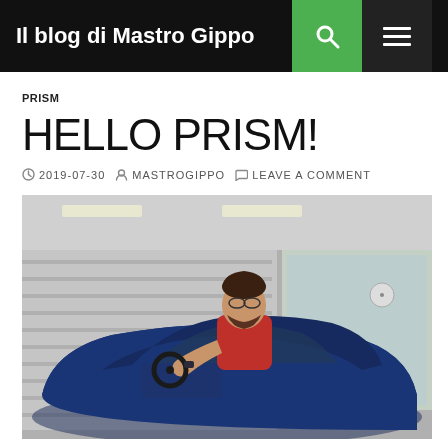Il blog di Mastro Gippo
PRISM
HELLO PRISM!
2019-07-30  MASTROGIPPO  LEAVE A COMMENT
[Figure (photo): A man in a red sleeveless shirt sitting in a blue Tesla electric car inside what appears to be a garage or service center, holding the steering wheel.]